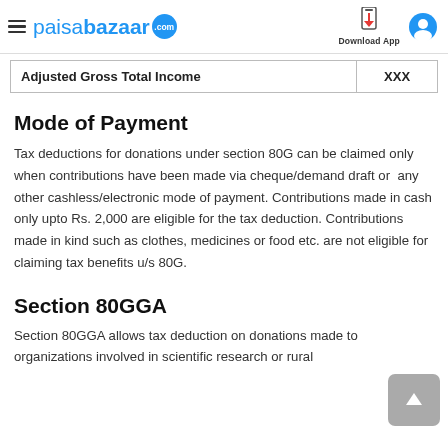paisabazaar.com — Download App
| Adjusted Gross Total Income | XXX |
| --- | --- |
| Adjusted Gross Total Income | XXX |
Mode of Payment
Tax deductions for donations under section 80G can be claimed only when contributions have been made via cheque/demand draft or  any other cashless/electronic mode of payment. Contributions made in cash only upto Rs. 2,000 are eligible for the tax deduction. Contributions made in kind such as clothes, medicines or food etc. are not eligible for claiming tax benefits u/s 80G.
Section 80GGA
Section 80GGA allows tax deduction on donations made to organizations involved in scientific research or rural